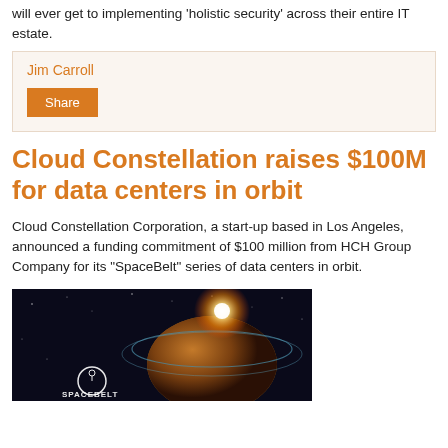will ever get to implementing 'holistic security' across their entire IT estate.
Jim Carroll
Share
Cloud Constellation raises $100M for data centers in orbit
Cloud Constellation Corporation, a start-up based in Los Angeles, announced a funding commitment of $100 million from HCH Group Company for its "SpaceBelt" series of data centers in orbit.
[Figure (photo): SpaceBelt logo and space imagery showing a planet with orbital rings and a bright light/sun, dark space background]